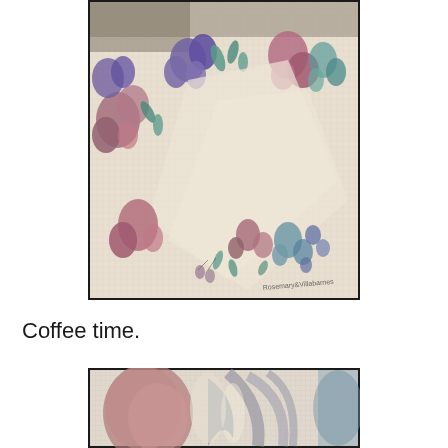[Figure (photo): Close-up photo of a floral patterned fabric/blanket with purple, pink, and teal flowers on a cream/off-white background. A watermark text is visible at the bottom right corner of the image.]
Coffee time.
[Figure (photo): Close-up photo of a fabric/blanket with large abstract floral or leaf pattern in muted pink/mauve and gray/blue tones on a light background. Only the top portion of the image is visible.]